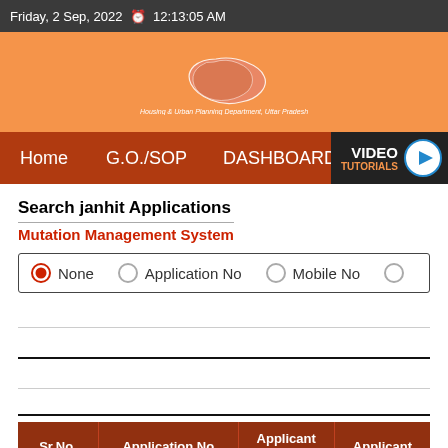Friday, 2 Sep, 2022  12:13:05 AM
[Figure (logo): Housing & Urban Planning Department, Uttar Pradesh logo with map outline graphic]
Housing & Urban Planning Department, Uttar Pradesh
Home  G.O./SOP  DASHBOARD  SH...  VIDEO TUTORIALS
Search janhit Applications
Mutation Management System
None  Application No  Mobile No
| Sr.No. | Application No | Applicant Name | Applicant |
| --- | --- | --- | --- |